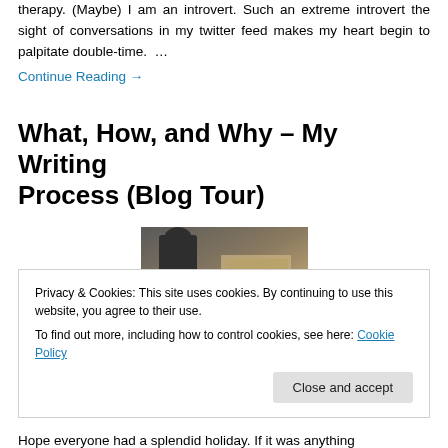therapy. (Maybe) I am an introvert. Such an extreme introvert the sight of conversations in my twitter feed makes my heart begin to palpitate double-time. …
Continue Reading →
What, How, and Why – My Writing Process (Blog Tour)
[Figure (photo): A dark figurine or sculpture next to what appears to be a book or wooden surface, photographed in muted tones.]
Privacy & Cookies: This site uses cookies. By continuing to use this website, you agree to their use.
To find out more, including how to control cookies, see here: Cookie Policy
Close and accept
Hope everyone had a splendid holiday. If it was anything